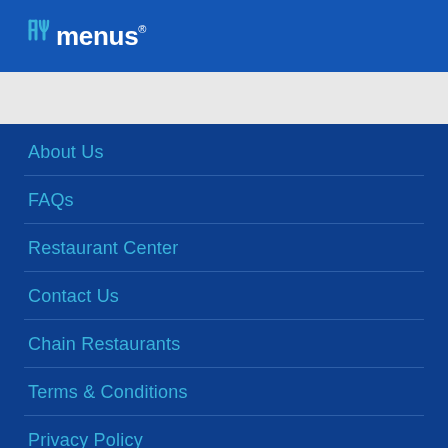allmenus
About Us
FAQs
Restaurant Center
Contact Us
Chain Restaurants
Terms & Conditions
Privacy Policy